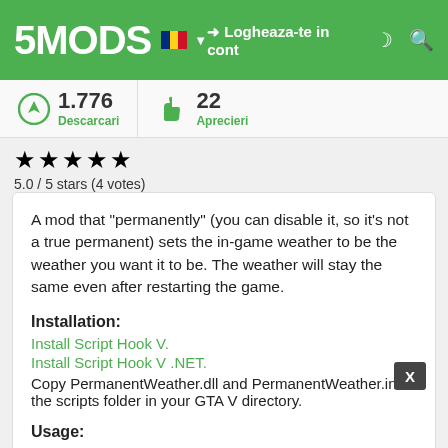5MODS | Logheaza-te in cont
1.776 Descarcari | 22 Aprecieri
5.0 / 5 stars (4 votes)
A mod that "permanently" (you can disable it, so it's not a true permanent) sets the in-game weather to be the weather you want it to be. The weather will stay the same even after restarting the game.
Installation:
Install Script Hook V.
Install Script Hook V .NET.
Copy PermanentWeather.dll and PermanentWeather.ini to the scripts folder in your GTA V directory.
Usage:
Press Control + U to toggle the mod (setting of the weather).
Press Control + I to open and close the menu from which you can select a different weather to set permanently.